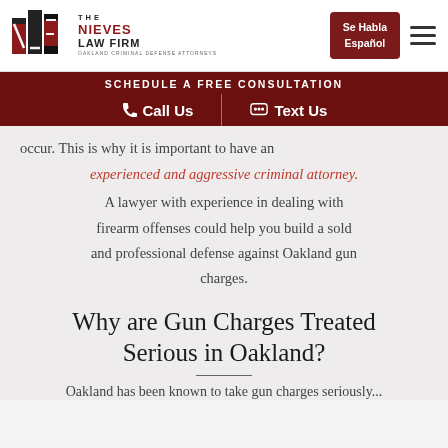[Figure (logo): The Nieves Law Firm logo with NLF initials and text 'Oakland Criminal Defense Attorneys']
Se Habla Español
SCHEDULE A FREE CONSULTATION
Call Us   Text Us
occur. This is why it is important to have an experienced and aggressive criminal attorney.
A lawyer with experience in dealing with firearm offenses could help you build a sold and professional defense against Oakland gun charges.
Why are Gun Charges Treated Serious in Oakland?
Oakland has been known to take gun charges seriously...